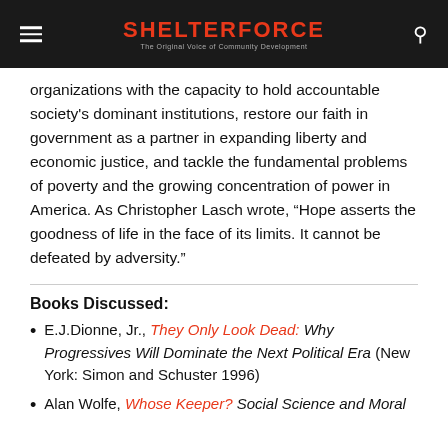SHELTERFORCE — The Original Voice of Community Development
organizations with the capacity to hold accountable society's dominant institutions, restore our faith in government as a partner in expanding liberty and economic justice, and tackle the fundamental problems of poverty and the growing concentration of power in America. As Christopher Lasch wrote, “Hope asserts the goodness of life in the face of its limits. It cannot be defeated by adversity.”
Books Discussed:
E.J.Dionne, Jr., They Only Look Dead: Why Progressives Will Dominate the Next Political Era (New York: Simon and Schuster 1996)
Alan Wolfe, Whose Keeper? Social Science and Moral